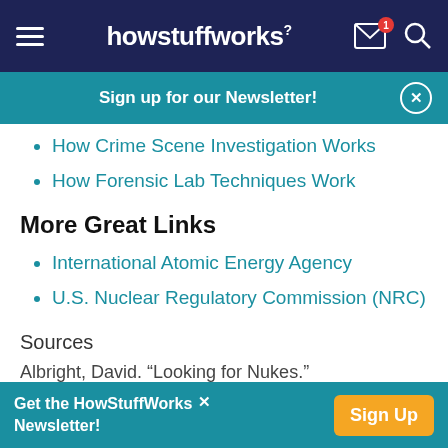howstuffworks
How Crime Scene Investigation Works
How Forensic Lab Techniques Work
More Great Links
International Atomic Energy Agency
U.S. Nuclear Regulatory Commission (NRC)
Sources
Albright, David. "Looking for Nukes."